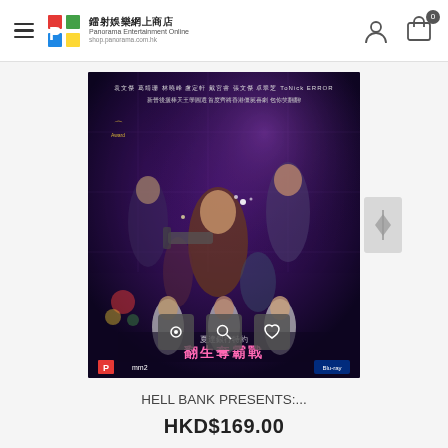panorama entertainment online shop — shop.panorama.com.hk
[Figure (photo): Movie Blu-ray cover for 'Hell Bank Presents' (翻生奪霸戰) featuring multiple cast members in action poses on a dark purple/blue background with Chinese text. Published by Panorama and mm2. Blu-ray format.]
HELL BANK PRESENTS:...
HKD$169.00